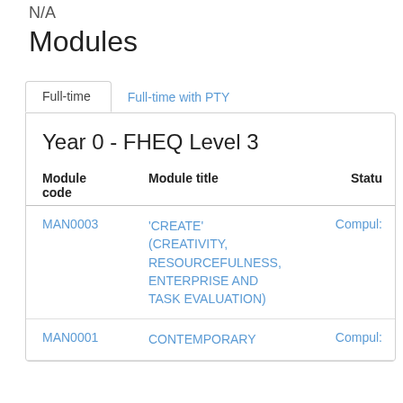N/A
Modules
Full-time | Full-time with PTY
Year 0 - FHEQ Level 3
| Module code | Module title | Statu |
| --- | --- | --- |
| MAN0003 | 'CREATE' (CREATIVITY, RESOURCEFULNESS, ENTERPRISE AND TASK EVALUATION) | Compul: |
| MAN0001 | CONTEMPORARY | Compul: |